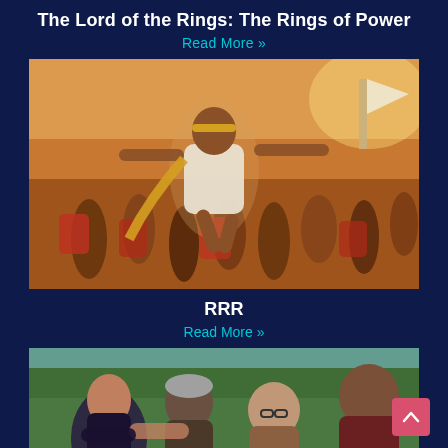The Lord of the Rings: The Rings of Power
Read More »
[Figure (photo): A man with a yellow headband crowd-surfing over a large cheering crowd, arms outstretched, wearing a white shirt with a yellow scarf, energetic celebratory scene.]
RRR
Read More »
[Figure (photo): A group of people embracing and smiling together outdoors, including a woman in dark clothing, a man in a grey beanie, an older woman with glasses, and a man in a dark red shirt.]